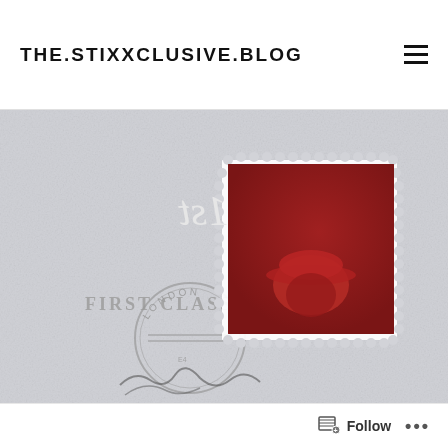THE.STIXXCLUSIVE.BLOG
[Figure (illustration): A letter/envelope background with grey textured paper. A red postage stamp in the center shows '1st' text and a silhouette of a person wearing a cap (mirrored). Below-left of the stamp is text reading 'FIRST CLASS' in grey serif font, and a circular London postmark stamp. A cursive signature appears at the bottom.]
Follow